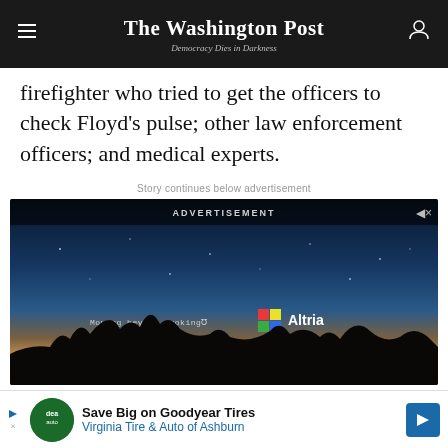The Washington Post — Democracy Dies in Darkness
firefighter who tried to get the officers to check Floyd's pulse; other law enforcement officers; and medical experts.
Story continues below advertisement
[Figure (photo): Advertisement video frame showing a night sky with Altria branding. Text reads 'Moving beyond smoking' with Altria logo and name on a dark blue twilight background with desert silhouette.]
[Figure (photo): Bottom banner advertisement: Save Big on Goodyear Tires — Virginia Tire & Auto of Ashburn]